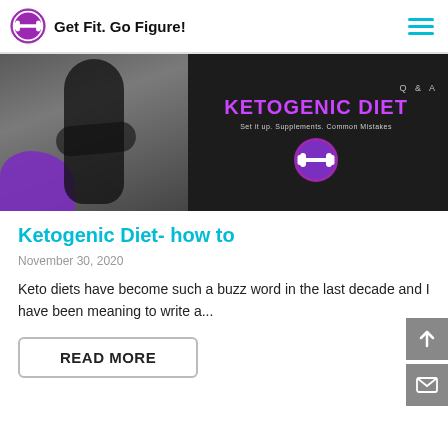Get Fit. Go Figure!
[Figure (photo): Banner image for a blog post about Ketogenic Diet Q&A. Left half shows a fitness woman in black athletic wear with arms crossed, standing in a gym. Right half is dark background with text: Q & A, KETOGENIC DIET, Set it up. Supplements. Common Mistakes, and a circular logo.]
Ketogenic Diet- how to
November 30, 2020
Keto diets have become such a buzz word in the last decade and I have been meaning to write a...
READ MORE